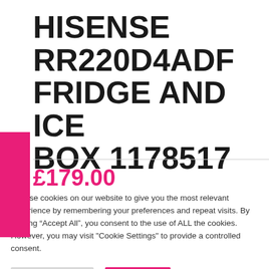HISENSE RR220D4ADF FRIDGE AND ICE BOX 1178517
£179.00
We use cookies on our website to give you the most relevant experience by remembering your preferences and repeat visits. By clicking “Accept All”, you consent to the use of ALL the cookies. However, you may visit "Cookie Settings" to provide a controlled consent.
Cookie Settings | Accept All